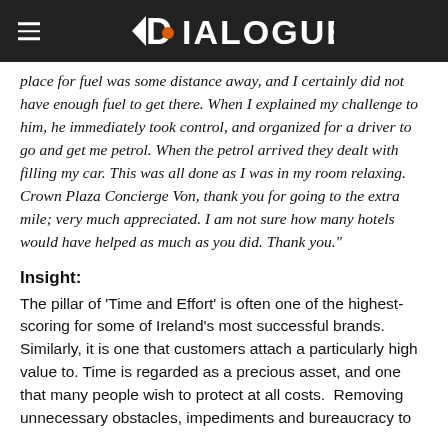Dialogue
place for fuel was some distance away, and I certainly did not have enough fuel to get there. When I explained my challenge to him, he immediately took control, and organized for a driver to go and get me petrol. When the petrol arrived they dealt with filling my car. This was all done as I was in my room relaxing. Crown Plaza Concierge Von, thank you for going to the extra mile; very much appreciated. I am not sure how many hotels would have helped as much as you did. Thank you."
Insight:
The pillar of ‘Time and Effort’ is often one of the highest-scoring for some of Ireland’s most successful brands. Similarly, it is one that customers attach a particularly high value to. Time is regarded as a precious asset, and one that many people wish to protect at all costs. Removing unnecessary obstacles, impediments and bureaucracy to